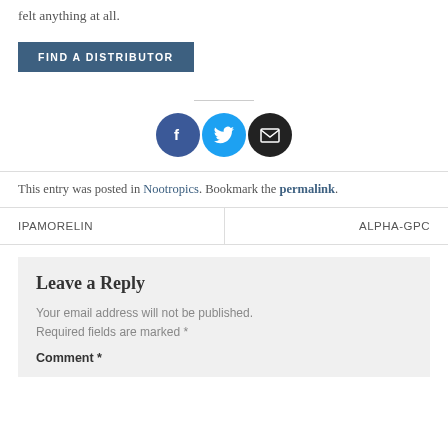felt anything at all.
FIND A DISTRIBUTOR
[Figure (infographic): Three social sharing icons: Facebook (dark blue circle with f), Twitter (light blue circle with bird icon), Email (black circle with envelope icon)]
This entry was posted in Nootropics. Bookmark the permalink.
IPAMORELIN
ALPHA-GPC
Leave a Reply
Your email address will not be published. Required fields are marked *
Comment *